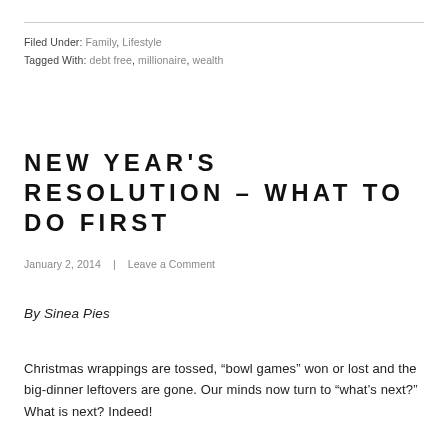Filed Under: Family, Lifestyle
Tagged With: debt free, millionaire, wealth
NEW YEAR'S RESOLUTION – WHAT TO DO FIRST
January 2, 2014  |  Leave a Comment
By Sinea Pies
Christmas wrappings are tossed, “bowl games” won or lost and the big-dinner leftovers are gone. Our minds now turn to “what’s next?”  What is next? Indeed!